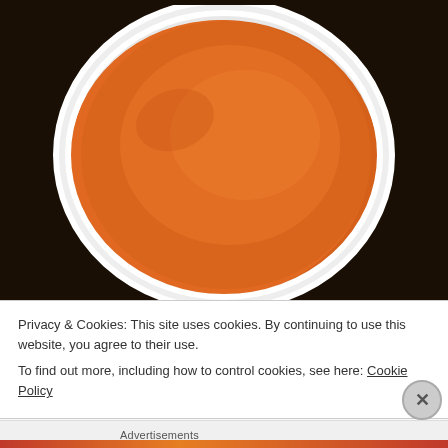[Figure (photo): A white ceramic bowl filled with smooth orange-colored soup or puree, viewed from above. The background is dark.]
Privacy & Cookies: This site uses cookies. By continuing to use this website, you agree to their use.
To find out more, including how to control cookies, see here: Cookie Policy
Close and accept
Advertisements